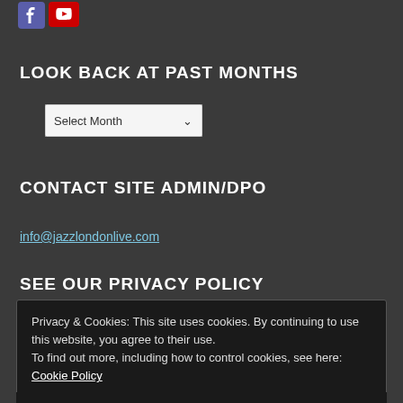[Figure (logo): Social media icons: Facebook and YouTube buttons at top left]
LOOK BACK AT PAST MONTHS
[Figure (other): Select Month dropdown widget]
CONTACT SITE ADMIN/DPO
info@jazzlondonlive.com
SEE OUR PRIVACY POLICY
Privacy & Cookies: This site uses cookies. By continuing to use this website, you agree to their use.
To find out more, including how to control cookies, see here: Cookie Policy
Close and accept